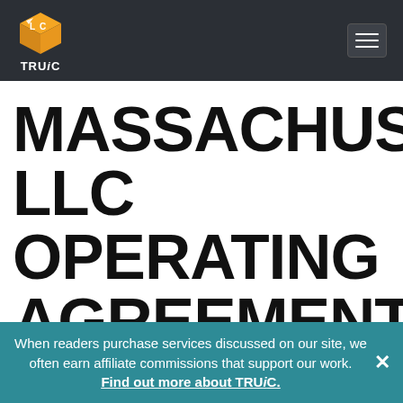TRUiC
MASSACHUSETTS LLC OPERATING AGREEMENT
Every Massachusetts LLC owner should have an
When readers purchase services discussed on our site, we often earn affiliate commissions that support our work. Find out more about TRUiC.